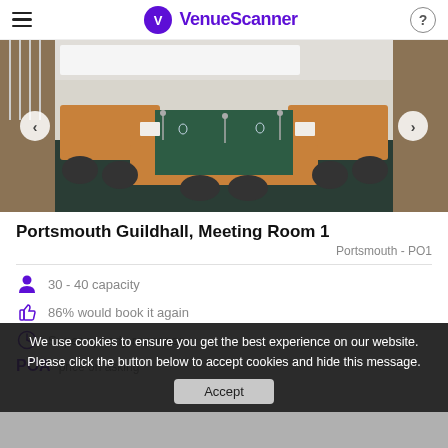VenueScanner
[Figure (photo): Conference room with U-shaped table arrangement, dark green carpet, chairs, microphones, and whiteboards. Navigation arrows on left and right sides.]
Portsmouth Guildhall, Meeting Room 1
Portsmouth - PO1
30 - 40 capacity
86% would book it again
Super speedy response
POA  price on asking
We use cookies to ensure you get the best experience on our website. Please click the button below to accept cookies and hide this message.
Accept